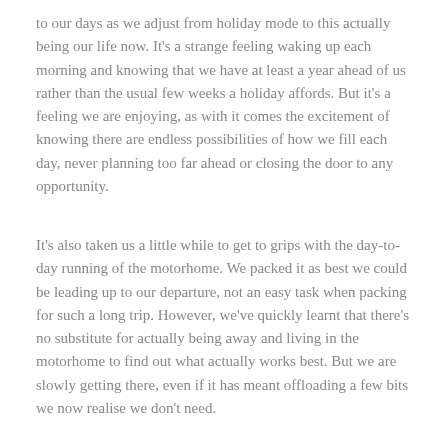to our days as we adjust from holiday mode to this actually being our life now. It's a strange feeling waking up each morning and knowing that we have at least a year ahead of us rather than the usual few weeks a holiday affords. But it's a feeling we are enjoying, as with it comes the excitement of knowing there are endless possibilities of how we fill each day, never planning too far ahead or closing the door to any opportunity.
It's also taken us a little while to get to grips with the day-to-day running of the motorhome. We packed it as best we could be leading up to our departure, not an easy task when packing for such a long trip. However, we've quickly learnt that there's no substitute for actually being away and living in the motorhome to find out what actually works best. But we are slowly getting there, even if it has meant offloading a few bits we now realise we don't need.